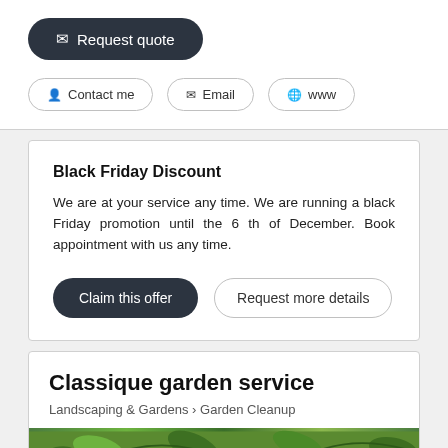Request quote
Contact me
Email
www
Black Friday Discount
We are at your service any time. We are running a black Friday promotion until the 6 th of December. Book appointment with us any time.
Claim this offer
Request more details
Classique garden service
Landscaping & Gardens > Garden Cleanup